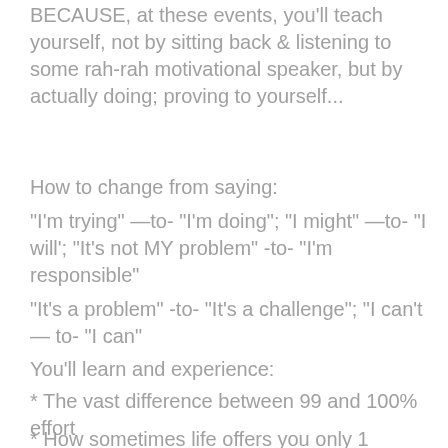BECAUSE, at these events, you'll teach yourself, not by sitting back & listening to some rah-rah motivational speaker, but by actually doing; proving to yourself...
How to change from saying:
"I'm trying" —to- "I'm doing"; "I might" —to- "I will'; "It's not MY problem" -to- "I'm responsible"
"It's a problem" -to- "It's a challenge"; "I can't — to- "I can"
You'll learn and experience:
* The vast difference between 99 and 100% effort
* How sometimes life offers you only 1 chance- better grab it while it's available; and sometimes you need to get it right the first